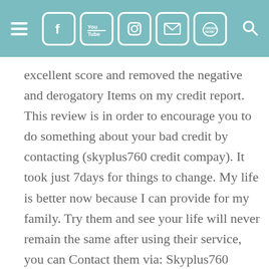Navigation header with hamburger menu, social icons (Facebook, YouTube, Instagram, Email, Order Now), and search icon
excellent score and removed the negative and derogatory Items on my credit report. This review is in order to encourage you to do something about your bad credit by contacting (skyplus760 credit compay). It took just 7days for things to change. My life is better now because I can provide for my family. Try them and see your life will never remain the same after using their service, you can Contact them via: Skyplus760 Credit Solution At Gmail Dot Com or Call/WhatsApp (443)  987  6452 and be thankful to me cheers..